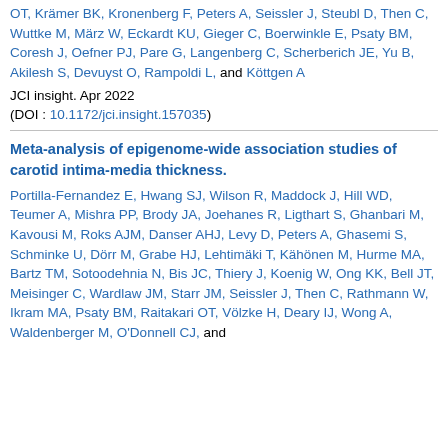OT, Krämer BK, Kronenberg F, Peters A, Seissler J, Steubl D, Then C, Wuttke M, März W, Eckardt KU, Gieger C, Boerwinkle E, Psaty BM, Coresh J, Oefner PJ, Pare G, Langenberg C, Scherberich JE, Yu B, Akilesh S, Devuyst O, Rampoldi L, and Köttgen A
JCI insight. Apr 2022
(DOI : 10.1172/jci.insight.157035)
Meta-analysis of epigenome-wide association studies of carotid intima-media thickness.
Portilla-Fernandez E, Hwang SJ, Wilson R, Maddock J, Hill WD, Teumer A, Mishra PP, Brody JA, Joehanes R, Ligthart S, Ghanbari M, Kavousi M, Roks AJM, Danser AHJ, Levy D, Peters A, Ghasemi S, Schminke U, Dörr M, Grabe HJ, Lehtimäki T, Kähönen M, Hurme MA, Bartz TM, Sotoodehnia N, Bis JC, Thiery J, Koenig W, Ong KK, Bell JT, Meisinger C, Wardlaw JM, Starr JM, Seissler J, Then C, Rathmann W, Ikram MA, Psaty BM, Raitakari OT, Völzke H, Deary IJ, Wong A, Waldenberger M, O'Donnell CJ, and